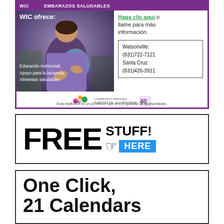[Figure (infographic): WIC advertisement in Spanish featuring a pregnant woman image. Top purple bar with WIC logo and 'EMBARAZOS SALUDABLES'. Left side shows pregnant woman photo with text 'WIC ofrece:', 'Educación nutricional', 'Apoyo para la lactancia', 'Alimentos saludables'. Right side has link 'Haga clic aquí' o llame para más información, phone numbers for Watsonville (831)722-7121 and Santa Cruz (831)426-3911. Footer with WIC Community Bridges logo. Disclaimer text at bottom.]
[Figure (infographic): Advertisement with large bold text 'FREE STUFF!' and a pointing hand icon followed by a blue badge reading 'HERE']
[Figure (infographic): Advertisement beginning with large bold text 'One Click,' followed by partial text '21 Calendars' cut off at bottom]